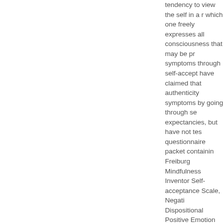tendency to view the self in a r which one freely expresses all consciousness that may be pr symptoms through self-accept have claimed that authenticity symptoms by going through se expectancies, but have not tes questionnaire packet containin Freiburg Mindfulness Inventor Self-acceptance Scale, Negati Dispositional Positive Emotion packet was distributed to 274 p authentic and mindful persons accepted and saw themselves when they find themselves in a psychic processes that they ex this would pass. These latter s suggested in the literature (Jim in that positive emotions emerg authentic. These findings imply knowledge directed towards gr
Language
English